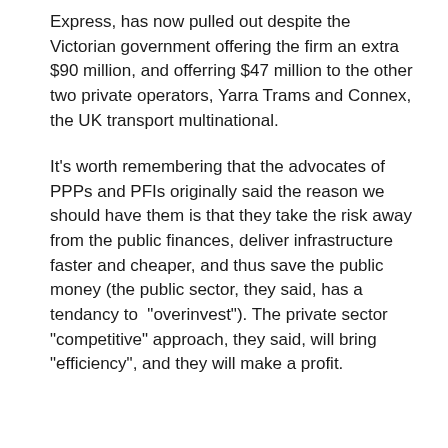Express, has now pulled out despite the Victorian government offering the firm an extra $90 million, and offerring $47 million to the other two private operators, Yarra Trams and Connex, the UK transport multinational.
It's worth remembering that the advocates of PPPs and PFIs originally said the reason we should have them is that they take the risk away from the public finances, deliver infrastructure faster and cheaper, and thus save the public money (the public sector, they said, has a tendancy to "overinvest"). The private sector "competitive" approach, they said, will bring "efficiency", and they will make a profit.